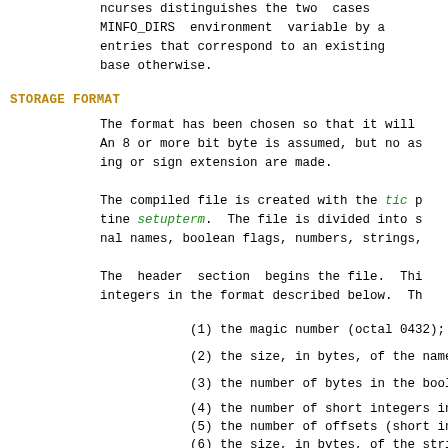ncurses distinguishes the two  cases
MINFO_DIRS  environment  variable by a
entries that correspond to an existing
base otherwise.
STORAGE FORMAT
The format has been chosen so that it will
An 8 or more bit byte is assumed, but no as
ing or sign extension are made.
The compiled file is created with the tic p
tine setupterm.  The file is divided into s
nal names, boolean flags, numbers, strings,
The  header  section  begins the file.  Thi
integers in the format described below.  Th
(1) the magic number (octal 0432);
(2) the size, in bytes, of the names s
(3) the number of bytes in the boolean
(4) the number of short integers in th
(5) the number of offsets (short integ
(6) the size, in bytes, of the string